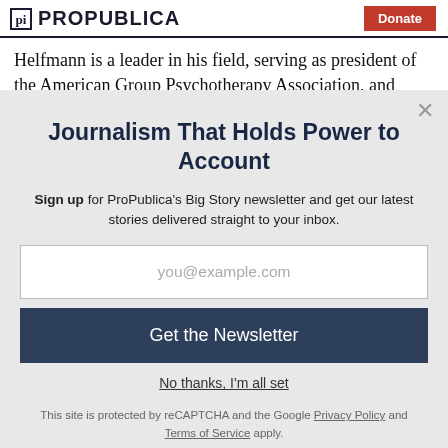ProPublica | Donate
Helfmann is a leader in his field, serving as president of the American Group Psychotherapy Association, and
Journalism That Holds Power to Account
Sign up for ProPublica's Big Story newsletter and get our latest stories delivered straight to your inbox.
you@example.com
Get the Newsletter
No thanks, I'm all set
This site is protected by reCAPTCHA and the Google Privacy Policy and Terms of Service apply.